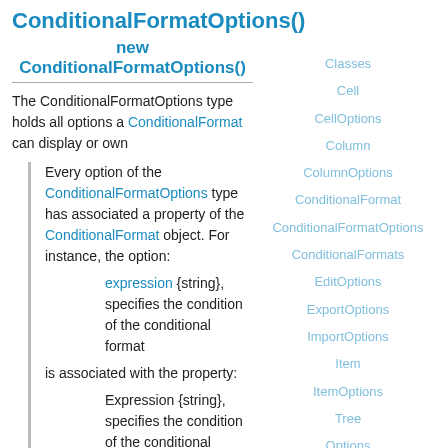ConditionalFormatOptions()
new ConditionalFormatOptions()
The ConditionalFormatOptions type holds all options a ConditionalFormat can display or own
Every option of the ConditionalFormatOptions type has associated a property of the ConditionalFormat object. For instance, the option:
expression {string}, specifies the condition of the conditional format
is associated with the property:
Expression {string}, specifies the condition of the conditional format
which means that the following statements are equivalent:
oConditionalFormat.Options =